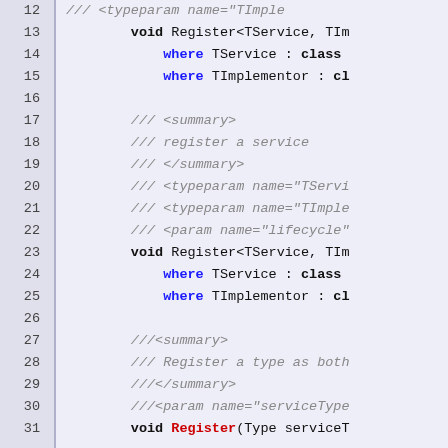[Figure (screenshot): Source code viewer showing C# interface code with line numbers 12-31. Lines include XML documentation comments (grey italic) and code with keywords in bold/colored text. Background is light blue-grey.]